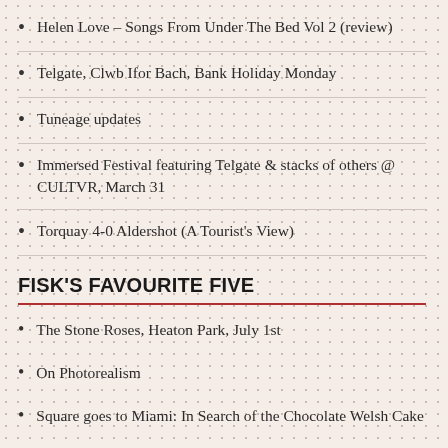Helen Love – Songs From Under The Bed Vol 2 (review)
Telgate, Clwb Ifor Bach, Bank Holiday Monday
Tuneage updates
Immersed Festival featuring Telgate & stacks of others @ CULTVR, March 31
Torquay 4-0 Aldershot (A Tourist's View)
FISK'S FAVOURITE FIVE
The Stone Roses, Heaton Park, July 1st
On Photorealism
Square goes to Miami: In Search of the Chocolate Welsh Cake